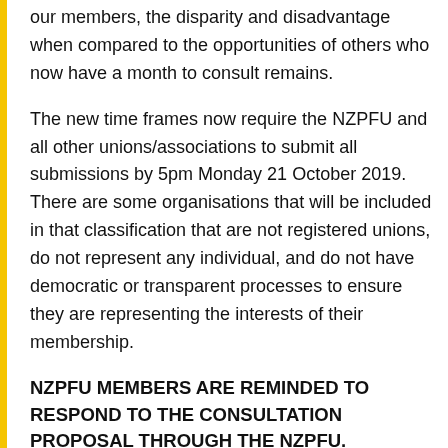our members, the disparity and disadvantage when compared to the opportunities of others who now have a month to consult remains.
The new time frames now require the NZPFU and all other unions/associations to submit all submissions by 5pm Monday 21 October 2019. There are some organisations that will be included in that classification that are not registered unions, do not represent any individual, and do not have democratic or transparent processes to ensure they are representing the interests of their membership.
NZPFU MEMBERS ARE REMINDED TO RESPOND TO THE CONSULTATION PROPOSAL THROUGH THE NZPFU.